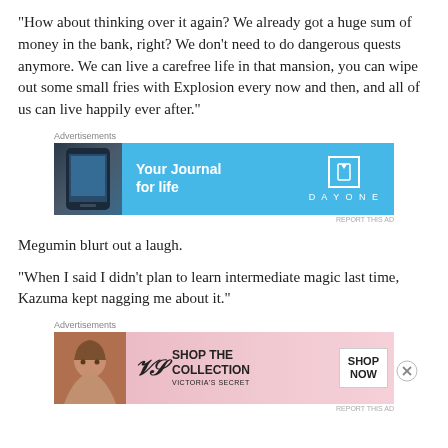“How about thinking over it again? We already got a huge sum of money in the bank, right? We don’t need to do dangerous quests anymore. We can live a carefree life in that mansion, you can wipe out some small fries with Explosion every now and then, and all of us can live happily ever after.”
[Figure (other): Advertisement banner for Day One journal app with blue background, phone image, text 'Your Journal for life' and Day One logo]
Megumin blurt out a laugh.
“When I said I didn’t plan to learn intermediate magic last time, Kazuma kept nagging me about it.”
[Figure (other): Advertisement banner for Victoria's Secret with pink background, woman photo, VS logo, and 'SHOP THE COLLECTION / SHOP NOW' text]